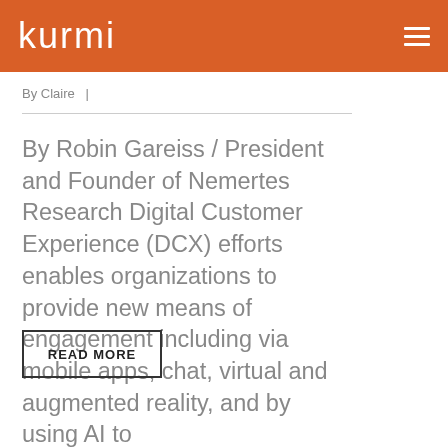kurmi
By Claire   |
By Robin Gareiss / President and Founder of Nemertes Research Digital Customer Experience (DCX) efforts enables organizations to provide new means of engagement including via mobile apps, chat, virtual and augmented reality, and by using AI to
READ MORE